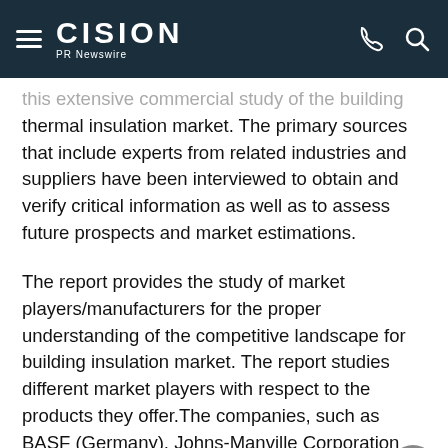CISION PR Newswire
this extensive commercial study of the building thermal insulation market. The primary sources that include experts from related industries and suppliers have been interviewed to obtain and verify critical information as well as to assess future prospects and market estimations.
The report provides the study of market players/manufacturers for the proper understanding of the competitive landscape for building insulation market. The report studies different market players with respect to the products they offer.The companies, such as BASF (Germany), Johns-Manville Corporation (U.S.), Kingspan Group Plc (Ireland),